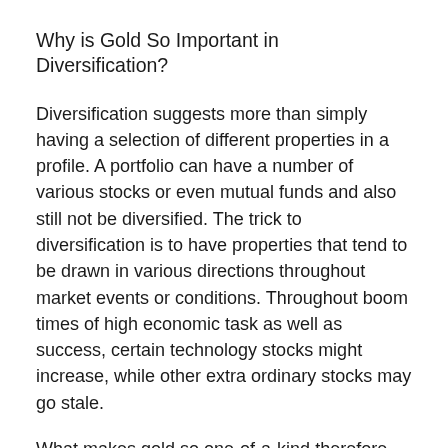Why is Gold So Important in Diversification?
Diversification suggests more than simply having a selection of different properties in a profile. A portfolio can have a number of various stocks or even mutual funds and also still not be diversified. The trick to diversification is to have properties that tend to be drawn in various directions throughout market events or conditions. Throughout boom times of high economic task as well as success, certain technology stocks might increase, while other extra ordinary stocks may go stale.
What makes gold so one-of-a-kind therefore needed in a diversity technique is that it has